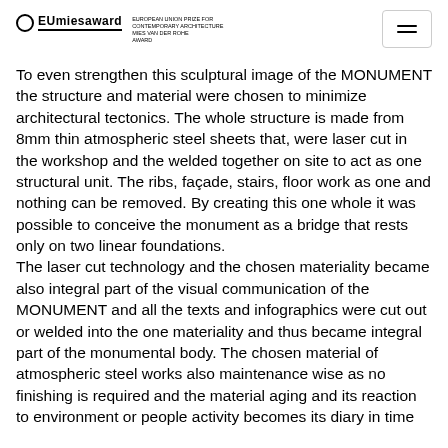EUmiesaward — EUROPEAN UNION PRIZE FOR CONTEMPORARY ARCHITECTURE / MIES VAN DER ROHE AWARD
To even strengthen this sculptural image of the MONUMENT the structure and material were chosen to minimize architectural tectonics. The whole structure is made from 8mm thin atmospheric steel sheets that, were laser cut in the workshop and the welded together on site to act as one structural unit. The ribs, façade, stairs, floor work as one and nothing can be removed. By creating this one whole it was possible to conceive the monument as a bridge that rests only on two linear foundations.
The laser cut technology and the chosen materiality became also integral part of the visual communication of the MONUMENT and all the texts and infographics were cut out or welded into the one materiality and thus became integral part of the monumental body. The chosen material of atmospheric steel works also maintenance wise as no finishing is required and the material aging and its reaction to environment or people activity becomes its diary in time